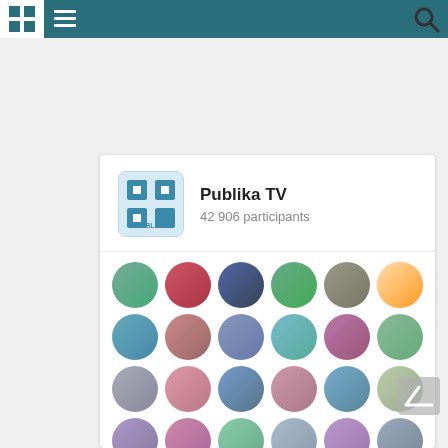Navigation bar with logo, hamburger menu, and search icon
[Figure (screenshot): Publika TV Odnoklassniki group page card showing channel logo, name, participant count, member avatars grid, and Join button]
Publika TV
42 906 participants
Join